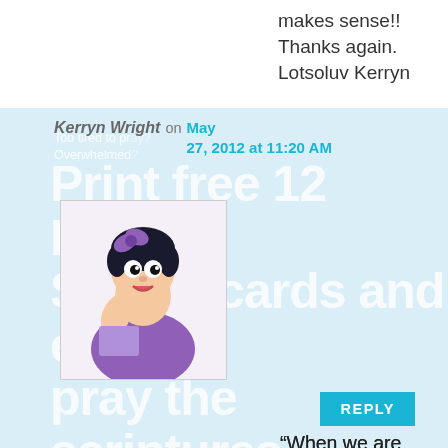makes sense!!
Thanks again.
Lotsoluv Kerryn
Kerryn Wright on May 27, 2012 at 11:20 AM
[Figure (illustration): Betty Boop cartoon character in purple dress]
Too tired to pray? Overwhelmed?
Print free 12 Prayer Starter cards and easily pray the scriptures
REPLY
“When we are afflicted it is tempting to think that God is correcting us for some perceived failing. But the fact is we often suffer for no other reason than that we live on this earth in frail bodies subject to pain and suffering. Nevertheless, God
PLUS! You will receive... stay on message when a healing is needed
Your E-mail: